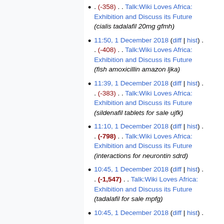(-358) . . Talk:Wiki Loves Africa: Exhibition and Discuss its Future (cialis tadalafil 20mg gfmh)
11:50, 1 December 2018 (diff | hist) . . (-408) . . Talk:Wiki Loves Africa: Exhibition and Discuss its Future (fish amoxicillin amazon ljka)
11:39, 1 December 2018 (diff | hist) . . (-383) . . Talk:Wiki Loves Africa: Exhibition and Discuss its Future (sildenafil tablets for sale ujfk)
11:10, 1 December 2018 (diff | hist) . . (-798) . . Talk:Wiki Loves Africa: Exhibition and Discuss its Future (interactions for neurontin sdrd)
10:45, 1 December 2018 (diff | hist) . . (-1,547) . . Talk:Wiki Loves Africa: Exhibition and Discuss its Future (tadalafil for sale mpfg)
10:45, 1 December 2018 (diff | hist) . .